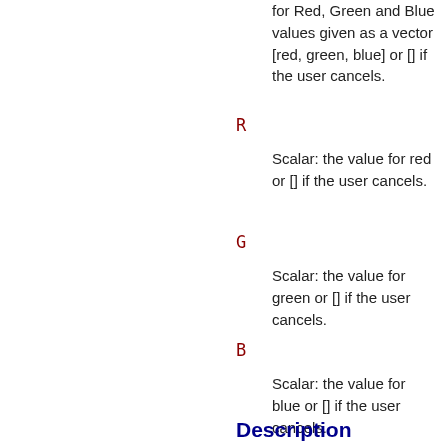for Red, Green and Blue values given as a vector [red, green, blue] or [] if the user cancels.
R
Scalar: the value for red or [] if the user cancels.
G
Scalar: the value for green or [] if the user cancels.
B
Scalar: the value for blue or [] if the user cancels.
Description